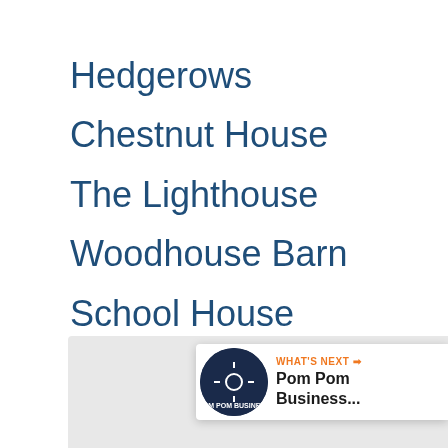Hedgerows
Chestnut House
The Lighthouse
Woodhouse Barn
School House
Snow White's Cottage
[Figure (infographic): Orange heart/like button with count of 1 and a share button below it]
[Figure (infographic): What's Next banner showing Pom Pom Business... with circular logo]